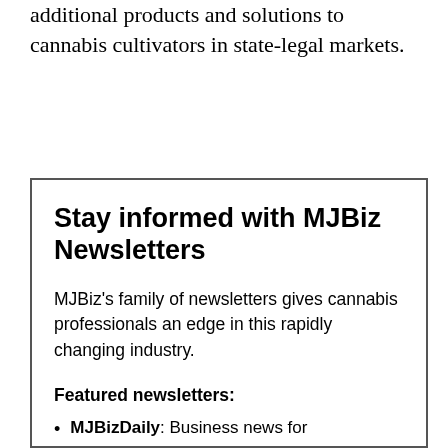additional products and solutions to cannabis cultivators in state-legal markets.
Stay informed with MJBiz Newsletters
MJBiz's family of newsletters gives cannabis professionals an edge in this rapidly changing industry.
Featured newsletters:
MJBizDaily: Business news for cannabis professionals